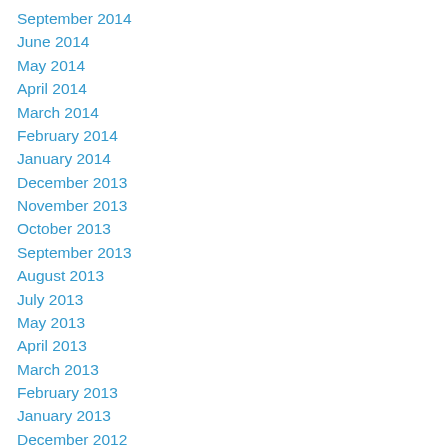September 2014
June 2014
May 2014
April 2014
March 2014
February 2014
January 2014
December 2013
November 2013
October 2013
September 2013
August 2013
July 2013
May 2013
April 2013
March 2013
February 2013
January 2013
December 2012
November 2012